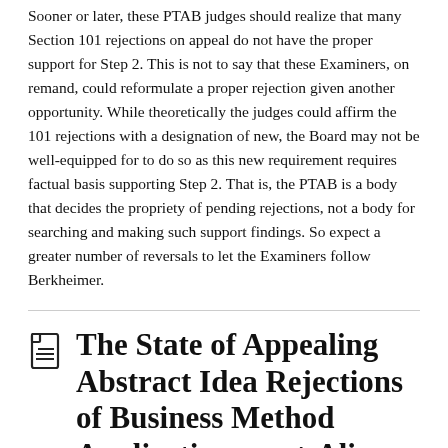Sooner or later, these PTAB judges should realize that many Section 101 rejections on appeal do not have the proper support for Step 2. This is not to say that these Examiners, on remand, could reformulate a proper rejection given another opportunity. While theoretically the judges could affirm the 101 rejections with a designation of new, the Board may not be well-equipped for to do so as this new requirement requires factual basis supporting Step 2. That is, the PTAB is a body that decides the propriety of pending rejections, not a body for searching and making such support findings. So expect a greater number of reversals to let the Examiners follow Berkheimer.
The State of Appealing Abstract Idea Rejections of Business Method Applications post-Alice
April 12, 2018  By  Admin  in Blog posts, Statistics  Tags: 101 - nonstatutory subject matter, abstract idea, business methods  Leave a comment
As seen from Anticipat's daily recap emails, last month the PTAB reversed a number of abstract idea rejections. And each disclaimer...